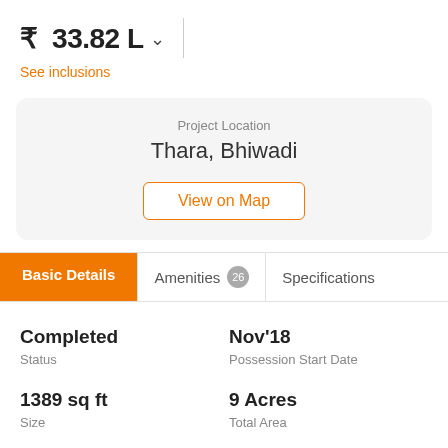₹ 33.82 L
See inclusions
Project Location
Thara, Bhiwadi
View on Map
Basic Details
Amenities 26
Specifications
Completed
Status
Nov'18
Possession Start Date
1389 sq ft
Size
9 Acres
Total Area